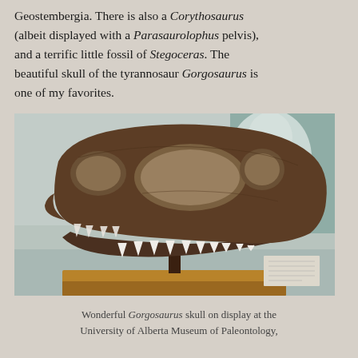Geostembergia. There is also a Corythosaurus (albeit displayed with a Parasaurolophus pelvis), and a terrific little fossil of Stegoceras. The beautiful skull of the tyrannosaur Gorgosaurus is one of my favorites.
[Figure (photo): Photograph of a Gorgosaurus skull fossil on display at the University of Alberta Museum of Paleontology, mounted on a wooden base. The skull shows prominent teeth and large cranial fenestrae. A person is visible in the background.]
Wonderful Gorgosaurus skull on display at the University of Alberta Museum of Paleontology,